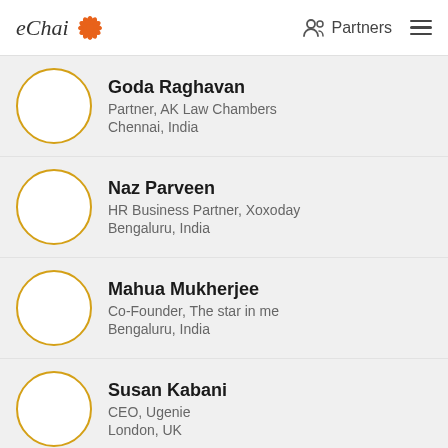eChai Partners
Goda Raghavan
Partner, AK Law Chambers
Chennai, India
Naz Parveen
HR Business Partner, Xoxoday
Bengaluru, India
Mahua Mukherjee
Co-Founder, The star in me
Bengaluru, India
Susan Kabani
CEO, Ugenie
London, UK
Krutika Katrat
Co-Founder, OoWomaniya.com
Ahmedabad, India
Vanipriya Jayaraman
Director (Co-Creation), Exotel